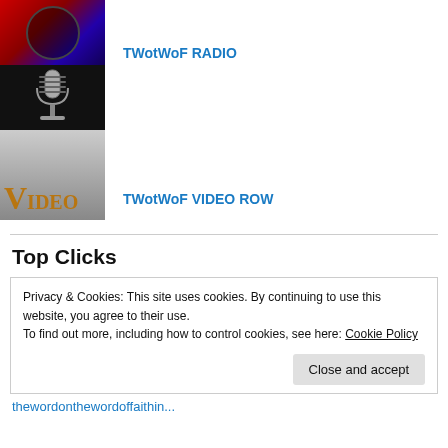[Figure (photo): TWotWoF Radio logo image with person in sunglasses and microphone graphic]
TWotWoF RADIO
[Figure (photo): TWotWoF Video Row logo image with 'VIDEO' text]
TWotWoF VIDEO ROW
Top Clicks
Privacy & Cookies: This site uses cookies. By continuing to use this website, you agree to their use.
To find out more, including how to control cookies, see here: Cookie Policy
Close and accept
thewordonthewordoffaithin...